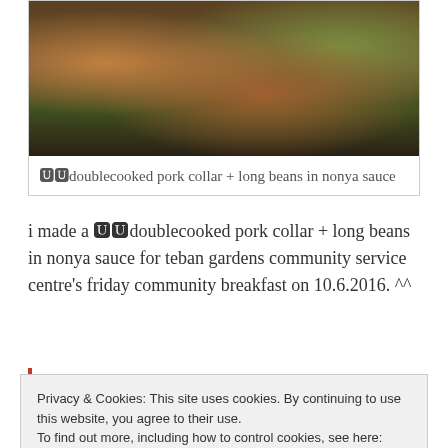[Figure (photo): Photo of doublecooked pork collar and long beans in nonya sauce in a foil tray]
🍴🍴doublecooked pork collar + long beans in nonya sauce
i made a 🍴🍴doublecooked pork collar + long beans in nonya sauce for teban gardens community service centre's friday community breakfast on 10.6.2016. ^^
this my 13th friday breakfast community meal at teban
Privacy & Cookies: This site uses cookies. By continuing to use this website, you agree to their use.
To find out more, including how to control cookies, see here: Cookie Policy
Close and accept
...